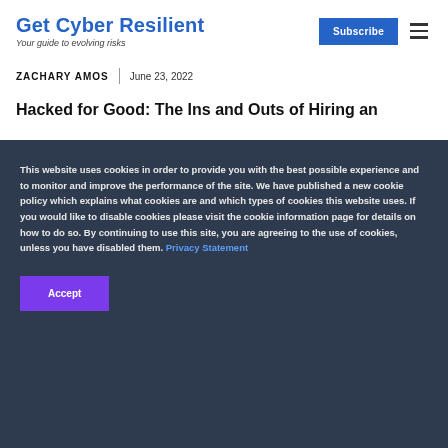Get Cyber Resilient — Your guide to evolving risks
ZACHARY AMOS | June 23, 2022
Hacked for Good: The Ins and Outs of Hiring an
This website uses cookies in order to provide you with the best possible experience and to monitor and improve the performance of the site. We have published a new cookie policy which explains what cookies are and which types of cookies this website uses. If you would like to disable cookies please visit the cookie information page for details on how to do so. By continuing to use this site, you are agreeing to the use of cookies, unless you have disabled them. Privacy Statement
Accept